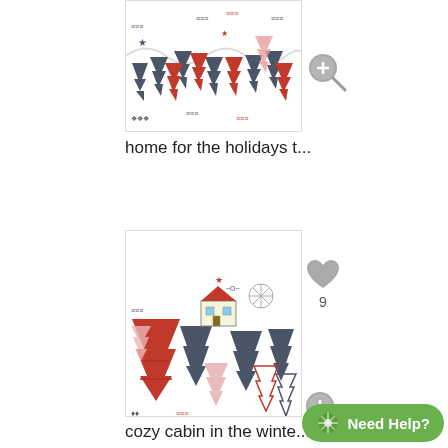[Figure (illustration): Christmas holiday pattern with stylized trees in red, dark blue/grey, and pink on white background - 'home for the holidays' textile design]
home for the holidays t...
[Figure (illustration): Christmas winter pattern with stylized trees, a cozy cabin house, snowflakes in red, dark blue/grey, and pink tones - 'cozy cabin in the winter' textile design]
cozy cabin in the winte...